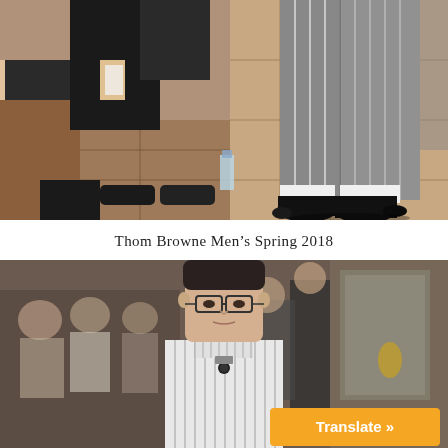[Figure (photo): Runway photo from Thom Browne Men's Spring 2018 show, close-up of male model's lower body showing pinstripe wide-leg trousers and black pointed-toe boots walking on tiled floor, with seated audience members visible on the left side.]
Thom Browne Men’s Spring 2018
[Figure (photo): Runway photo from Thom Browne Men's Spring 2018 show, upper body portrait of male model with shaved head wearing a white pinstripe collarless shirt with a small brooch/pin, with blurred audience and venue in background. An orange 'Translate »' button overlays the bottom right corner.]